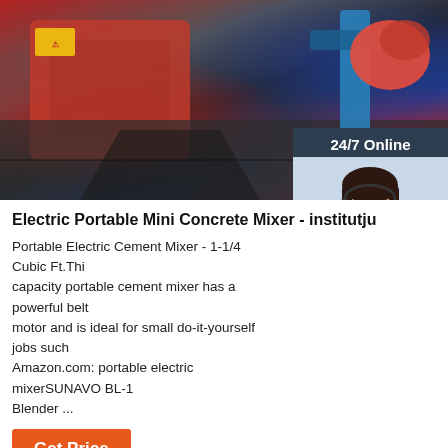[Figure (photo): Photo of electric portable mini concrete mixer with red and blue parts on a surface]
[Figure (infographic): 24/7 Online chat widget with customer service agent photo, 'Click here for free chat!' text, and QUOTATION button]
Electric Portable Mini Concrete Mixer - institutju
Portable Electric Cement Mixer - 1-1/4 Cubic Ft.This capacity portable cement mixer has a powerful belt motor and is ideal for small do-it-yourself jobs such Amazon.com: portable electric mixerSUNAVO BL-1 Blender ...
[Figure (other): Get Price orange button]
[Figure (logo): Trade ABC company logo with stylized A letter and wheat graphics]
[Figure (infographic): TOP button with orange dotted arc above the letters TOP in orange]